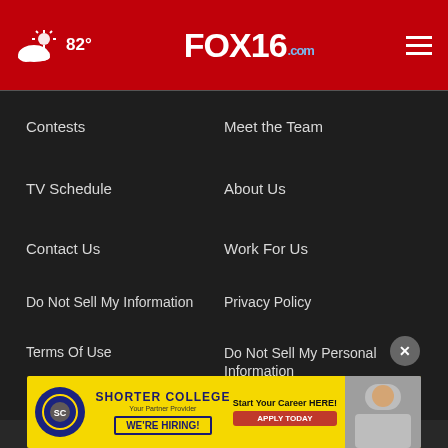FOX16.com — 82° weather, hamburger menu
Contests
Meet the Team
TV Schedule
About Us
Contact Us
Work For Us
Do Not Sell My Information
Privacy Policy
Terms Of Use
Do Not Sell My Personal Information
FCC Applications
Public File Assistance Contact
[Figure (screenshot): Shorter College advertisement banner with yellow background, college logo, 'Start Your Career HERE! APPLY TODAY' call to action, WE'RE HIRING text, and photo of person]